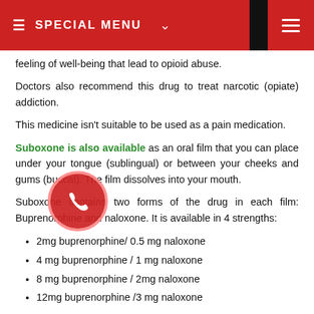SPECIAL MENU
feeling of well-being that lead to opioid abuse.
Doctors also recommend this drug to treat narcotic (opiate) addiction.
This medicine isn't suitable to be used as a pain medication.
Suboxone is also available as an oral film that you can place under your tongue (sublingual) or between your cheeks and gums (buccal). The film dissolves into your mouth.
Suboxone contains two forms of the drug in each film: Buprenorphine and naloxone. It is available in 4 strengths:
2mg buprenorphine/ 0.5 mg naloxone
4 mg buprenorphine / 1 mg naloxone
8 mg buprenorphine / 2mg naloxone
12mg buprenorphine /3 mg naloxone
Suboxone is a controlled substance, and the authorities